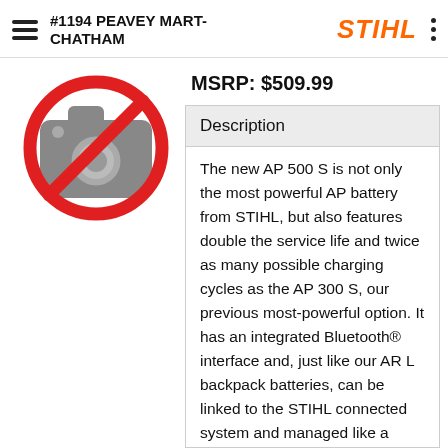#1194 PEAVEY MART-CHATHAM
[Figure (logo): STIHL brand logo in orange italic bold text]
[Figure (illustration): No-photo placeholder icon: grey camera with red circle and diagonal line through it]
MSRP: $509.99
Description
The new AP 500 S is not only the most powerful AP battery from STIHL, but also features double the service life and twice as many possible charging cycles as the AP 300 S, our previous most-powerful option. It has an integrated Bluetooth® interface and, just like our AR L backpack batteries, can be linked to the STIHL connected system and managed like a power tool.